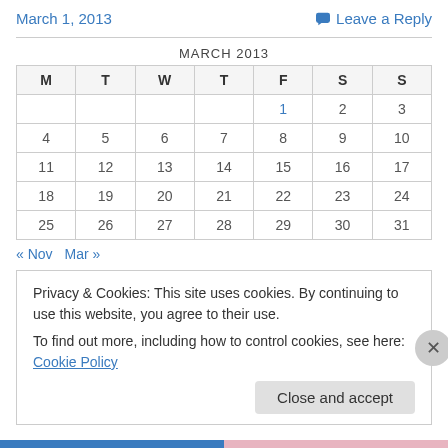March 1, 2013    Leave a Reply
| M | T | W | T | F | S | S |
| --- | --- | --- | --- | --- | --- | --- |
|  |  |  |  | 1 | 2 | 3 |
| 4 | 5 | 6 | 7 | 8 | 9 | 10 |
| 11 | 12 | 13 | 14 | 15 | 16 | 17 |
| 18 | 19 | 20 | 21 | 22 | 23 | 24 |
| 25 | 26 | 27 | 28 | 29 | 30 | 31 |
« Nov   Mar »
Privacy & Cookies: This site uses cookies. By continuing to use this website, you agree to their use. To find out more, including how to control cookies, see here: Cookie Policy
Close and accept